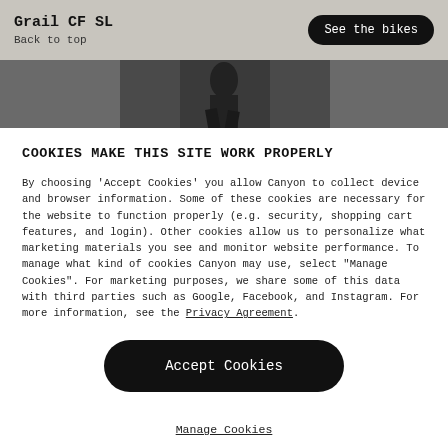Grail CF SL
Back to top
[Figure (photo): Partial photo of a cyclist or person running on a road, cropped strip view]
COOKIES MAKE THIS SITE WORK PROPERLY
By choosing 'Accept Cookies' you allow Canyon to collect device and browser information. Some of these cookies are necessary for the website to function properly (e.g. security, shopping cart features, and login). Other cookies allow us to personalize what marketing materials you see and monitor website performance. To manage what kind of cookies Canyon may use, select "Manage Cookies". For marketing purposes, we share some of this data with third parties such as Google, Facebook, and Instagram. For more information, see the Privacy Agreement.
Accept Cookies
Manage Cookies